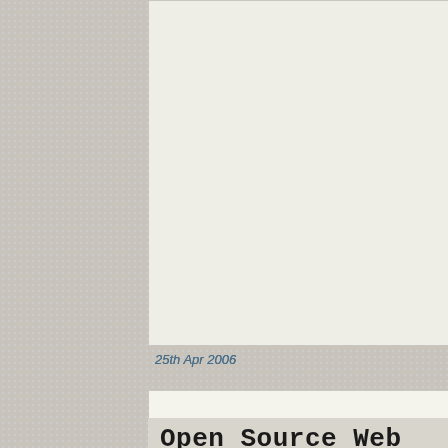[Figure (other): Top image/screenshot placeholder box with light beige background]
25th Apr 2006
web design
Open Source Web Design
This is a new one to me: Open Source Web Design is a large collection of website templates readyto download and use. A great idea... and as they say & [...]